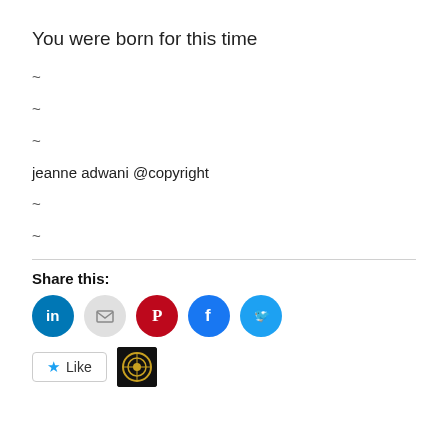You were born for this time
~
~
~
jeanne adwani @copyright
~
~
Share this:
[Figure (other): Social share buttons: LinkedIn, Email, Pinterest, Facebook, Twitter icons as colored circles, followed by a Like button and a small avatar thumbnail]